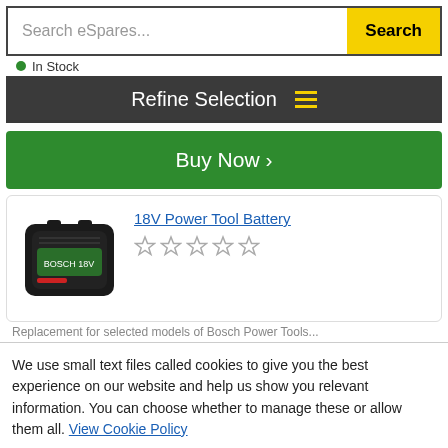Search eSpares...  Search
In Stock
Refine Selection
Buy Now >
[Figure (photo): 18V Power Tool Battery charger product image - black square battery charger device]
18V Power Tool Battery
We use small text files called cookies to give you the best experience on our website and help us show you relevant information. You can choose whether to manage these or allow them all. View Cookie Policy
Manage Cookies
Allow All